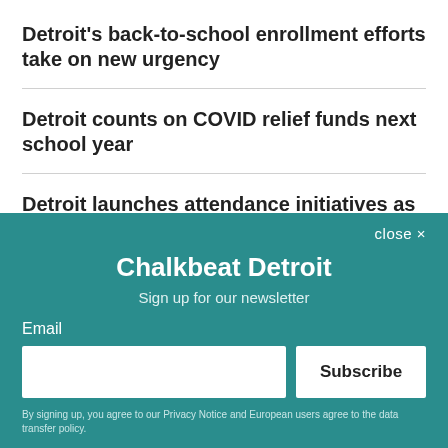Detroit's back-to-school enrollment efforts take on new urgency
Detroit counts on COVID relief funds next school year
Detroit launches attendance initiatives as rising absenteeism threatens pandemic recovery
Here's who's running for 4 Detroit school board seats
Chalkbeat Detroit
Sign up for our newsletter
Email
Subscribe
By signing up, you agree to our Privacy Notice and European users agree to the data transfer policy.